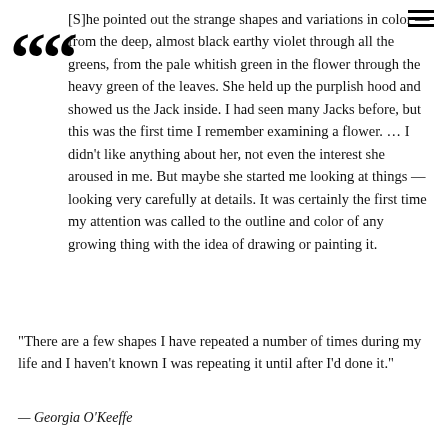[S]he pointed out the strange shapes and variations in color — from the deep, almost black earthy violet through all the greens, from the pale whitish green in the flower through the heavy green of the leaves. She held up the purplish hood and showed us the Jack inside. I had seen many Jacks before, but this was the first time I remember examining a flower. ... I didn't like anything about her, not even the interest she aroused in me. But maybe she started me looking at things — looking very carefully at details. It was certainly the first time my attention was called to the outline and color of any growing thing with the idea of drawing or painting it.
“There are a few shapes I have repeated a number of times during my life and I haven’t known I was repeating it until after I’d done it.”
— Georgia O’Keeffe